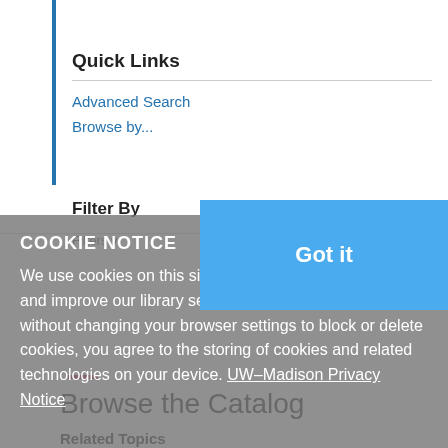Quick Links
Advanced Search
Browse by...
Filter By
Filters v
COOKIE NOTICE
We use cookies on this site to enhance your experience and improve our library services. By continuing to browse without changing your browser settings to block or delete cookies, you agree to the storing of cookies and related technologies on your device. UW–Madison Privacy Notice
Got it
Browse the Catalog
Related Topics